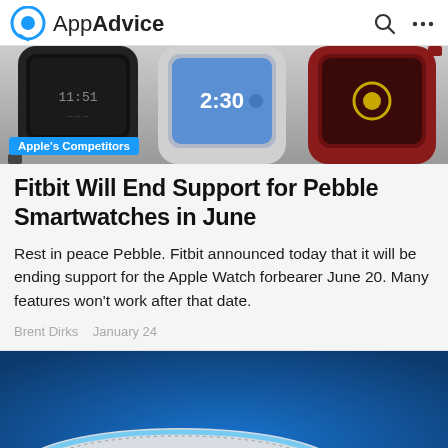AppAdvice
[Figure (photo): Three Pebble smartwatches side by side: black, white/silver (showing 2:30), and red model. Category badge 'Apple's Competitors' in blue at bottom left.]
Fitbit Will End Support for Pebble Smartwatches in June
Rest in peace Pebble. Fitbit announced today that it will be ending support for the Apple Watch forbearer June 20. Many features won't work after that date.
Brent Dirks   January 24
[Figure (photo): Two Amazon Echo Dot smart speakers on a blue background. One white/gray and one dark/charcoal with glowing blue rings. Category badge 'Apple's Competitors' in blue at bottom left.]